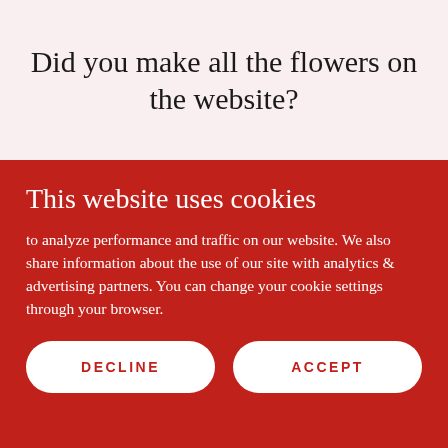Did you make all the flowers on the website?
This website uses cookies
to analyze performance and traffic on our website. We also share information about the use of our site with analytics & advertising partners. You can change your cookie settings through your browser.
DECLINE
ACCEPT